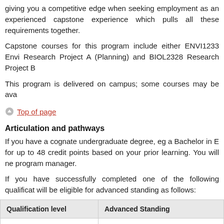giving you a competitive edge when seeking employment as an experienced capstone experience which pulls all these requirements together.
Capstone courses for this program include either ENVI1233 Envi Research Project A (Planning) and BIOL2328 Research Project B
This program is delivered on campus; some courses may be ava
Top of page
Articulation and pathways
If you have a cognate undergraduate degree, eg a Bachelor in E for up to 48 credit points based on your prior learning. You will ne program manager.
If you have successfully completed one of the following qualificat will be eligible for advanced standing as follows:
| Qualification level | Advanced Standing |
| --- | --- |
| Graduate Certificate in the same discipline | Up to 48 credit points (equivalent to o semesters full time study) |